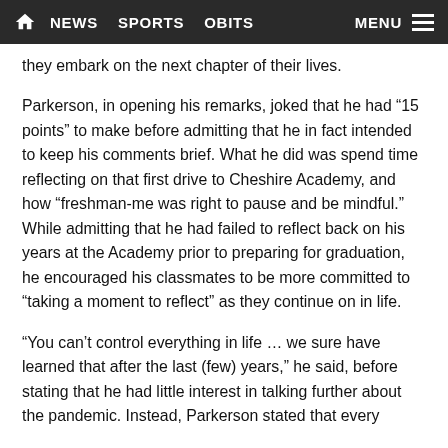HOME  NEWS  SPORTS  OBITS  MENU
they embark on the next chapter of their lives.
Parkerson, in opening his remarks, joked that he had “15 points” to make before admitting that he in fact intended to keep his comments brief. What he did was spend time reflecting on that first drive to Cheshire Academy, and how “freshman-me was right to pause and be mindful.” While admitting that he had failed to reflect back on his years at the Academy prior to preparing for graduation, he encouraged his classmates to be more committed to “taking a moment to reflect” as they continue on in life.
“You can’t control everything in life … we sure have learned that after the last (few) years,” he said, before stating that he had little interest in talking further about the pandemic. Instead, Parkerson stated that every